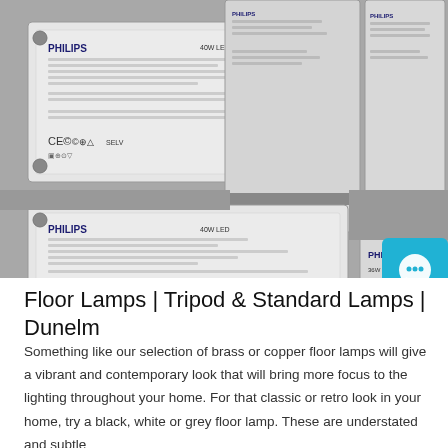[Figure (photo): Close-up photograph of multiple Philips LED driver units (ballasts/transformers) with certification marks including CE, showing white/grey rectangular electronic components with technical specifications printed on labels. A teal 'Free Chat' button overlay appears on the right side.]
Floor Lamps | Tripod & Standard Lamps | Dunelm
Something like our selection of brass or copper floor lamps will give a vibrant and contemporary look that will bring more focus to the lighting throughout your home. For that classic or retro look in your home, try a black, white or grey floor lamp. These are understated and subtle